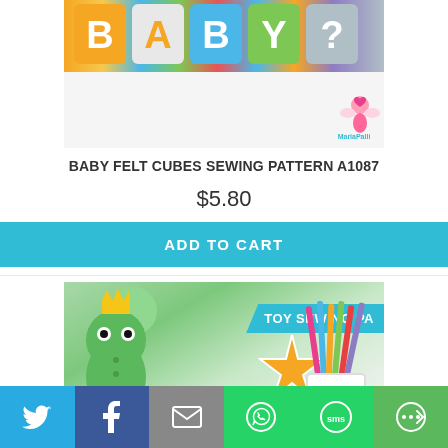[Figure (photo): Baby felt alphabet blocks in orange, green, blue colors spelling BABY, with MariaPalli logo watermark]
BABY FELT CUBES SEWING PATTERN A1087
$5.80
ADD TO CART
[Figure (photo): Green frog toy with yellow crown next to colored pencils in cup, with TOY SEWING PA banner, and orange star shape]
[Figure (other): Social sharing bar with Twitter, Facebook, Email, WhatsApp, SMS, and More buttons]